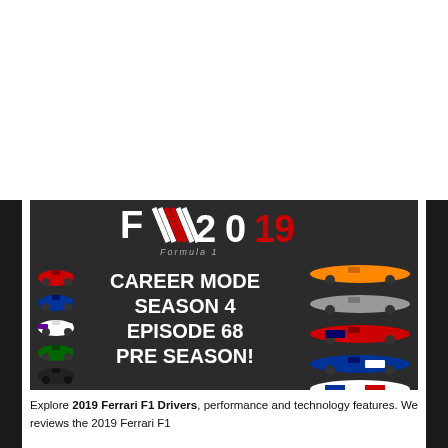[Figure (screenshot): F1 2019 Formula 1 Career Mode Season 4 Episode 68 Pre Season thumbnail image showing multiple Formula 1 cars on a dark background with the F1 2019 logo at top.]
Explore 2019 Ferrari F1 Drivers, performance and technology features. We reviews the 2019 Ferrari F1